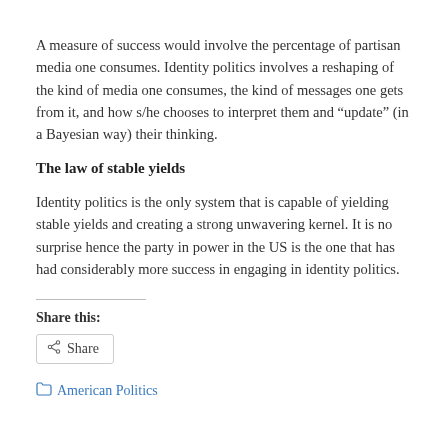A measure of success would involve the percentage of partisan media one consumes. Identity politics involves a reshaping of the kind of media one consumes, the kind of messages one gets from it, and how s/he chooses to interpret them and “update” (in a Bayesian way) their thinking.
The law of stable yields
Identity politics is the only system that is capable of yielding stable yields and creating a strong unwavering kernel. It is no surprise hence the party in power in the US is the one that has had considerably more success in engaging in identity politics.
Share this:
Share
American Politics